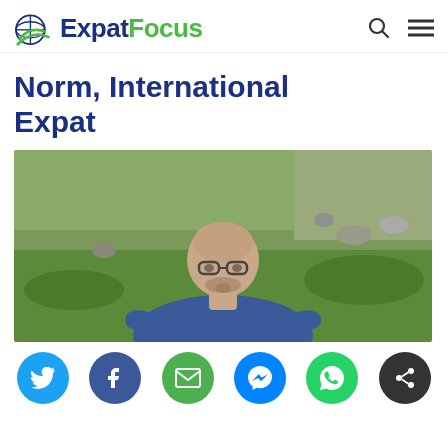ExpatFocus
Norm, International Expat
[Figure (photo): Middle-aged bald man wearing glasses and a blue denim shirt, sitting outdoors on grass with rocky hillside in background]
[Figure (infographic): Social sharing buttons: Twitter (blue), Facebook (dark blue), Email (green), Messenger (blue), WhatsApp (green), Share (dark/black)]